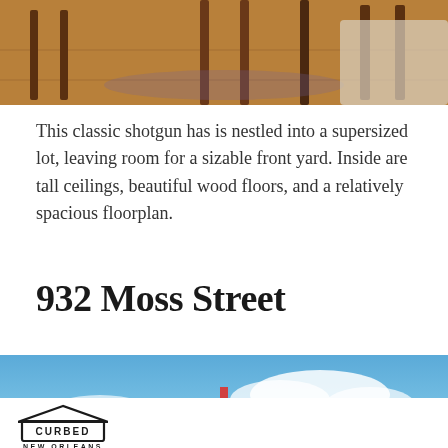[Figure (photo): Interior photo showing a room with hardwood floors, antique wooden furniture, and an ornate rug]
This classic shotgun has is nestled into a supersized lot, leaving room for a sizable front yard. Inside are tall ceilings, beautiful wood floors, and a relatively spacious floorplan.
932 Moss Street
[Figure (photo): Exterior photo looking up at a house roofline against a blue sky with clouds]
[Figure (logo): Curbed New Orleans logo — house-shaped icon with the word CURBED inside and NEW ORLEANS below]